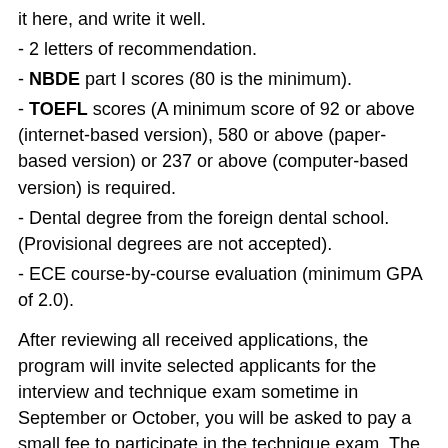it here, and write it well.
- 2 letters of recommendation.
- NBDE part I scores (80 is the minimum).
- TOEFL scores (A minimum score of 92 or above (internet-based version), 580 or above (paper-based version) or 237 or above (computer-based version) is required.
- Dental degree from the foreign dental school. (Provisional degrees are not accepted).
- ECE course-by-course evaluation (minimum GPA of 2.0).
After reviewing all received applications, the program will invite selected applicants for the interview and technique exam sometime in September or October, you will be asked to pay a small fee to participate in the technique exam. The technique exam details are released a day or two before the exam, but it usually consists of two preps (class II amalgam and PFM prep).
You will be assigned a faculty member who will conduct the